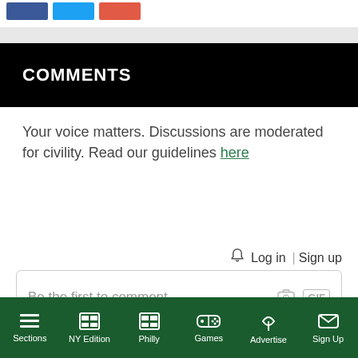[Figure (screenshot): Social sharing buttons: Facebook (blue), Twitter (light blue), Reddit (red-orange)]
COMMENTS
Your voice matters. Discussions are moderated for civility. Read our guidelines here
Log in | Sign up
[Figure (screenshot): Comment input box with placeholder text 'Be the first to comment...' and camera/GIF icons]
Terms | Privacy | Feedback
Sections | NY Edition | Philly | Games | Advertise | Sign Up